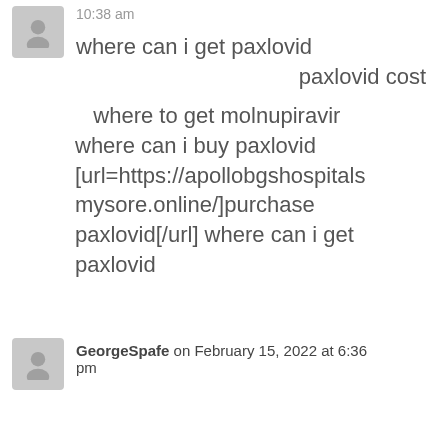10:38 am
where can i get paxlovid
paxlovid cost
where to get molnupiravir
where can i buy paxlovid
[url=https://apollobgshospitalsmysore.online/]purchase paxlovid[/url] where can i get paxlovid
GeorgeSpafe on February 15, 2022 at 6:36 pm